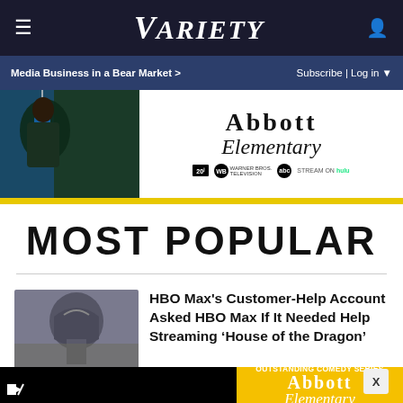Variety
Media Business in a Bear Market > | Subscribe | Log in
[Figure (photo): Abbott Elementary promotional banner ad with 20th Television, Warner Bros. Television, ABC and Hulu logos]
MOST POPULAR
HBO Max's Customer-Help Account Asked HBO Max If It Needed Help Streaming 'House of the Dragon'
[Figure (photo): Thumbnail image from House of the Dragon showing armored character]
[Figure (photo): Abbott Elementary 7 Emmy Nominations including Outstanding Comedy Series promotional ad on yellow background with network logos]